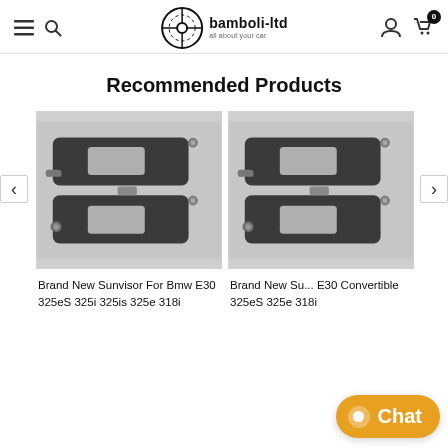bamboli-ltd — all about your car
Recommended Products
[Figure (photo): Two dark grey BMW E30 sun visors with mirror windows, shown stacked, with mounting hardware visible]
[Figure (photo): Two dark grey BMW E30 convertible sun visors with mirror windows, shown stacked, with mounting hardware visible]
Brand New Sunvisor For Bmw E30 325eS 325i 325is 325e 318i
Brand New Su... E30 Convertible 325eS 325e 318i